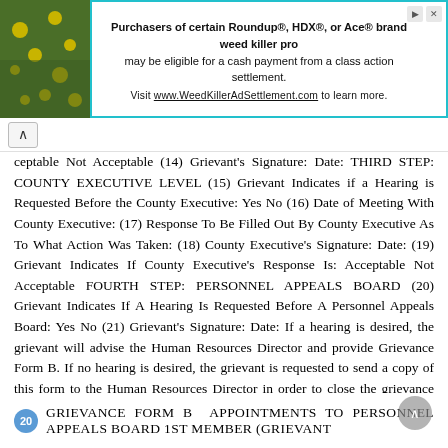[Figure (other): Advertisement banner for WeedKillerAdSettlement.com class action settlement regarding Roundup, HDX, or Ace brand weed killers]
ceptable Not Acceptable (14) Grievant's Signature: Date: THIRD STEP: COUNTY EXECUTIVE LEVEL (15) Grievant Indicates if a Hearing is Requested Before the County Executive: Yes No (16) Date of Meeting With County Executive: (17) Response To Be Filled Out By County Executive As To What Action Was Taken: (18) County Executive's Signature: Date: (19) Grievant Indicates If County Executive's Response Is: Acceptable Not Acceptable FOURTH STEP: PERSONNEL APPEALS BOARD (20) Grievant Indicates If A Hearing Is Requested Before A Personnel Appeals Board: Yes No (21) Grievant's Signature: Date: If a hearing is desired, the grievant will advise the Human Resources Director and provide Grievance Form B. If no hearing is desired, the grievant is requested to send a copy of this form to the Human Resources Director in order to close the grievance file. 19
20 GRIEVANCE FORM B APPOINTMENTS TO PERSONNEL APPEALS BOARD 1st Member (Grievant